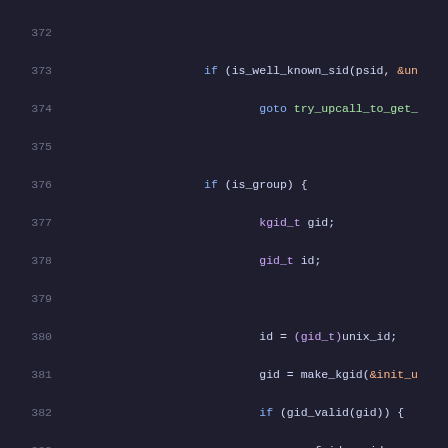Code listing lines 372-393, C source code showing is_well_known_sid, is_group branch with kgid_t/gid_t and make_kgid/gid_valid logic, else branch with kuid_t/uid_t and make_kuid/uid_valid logic.